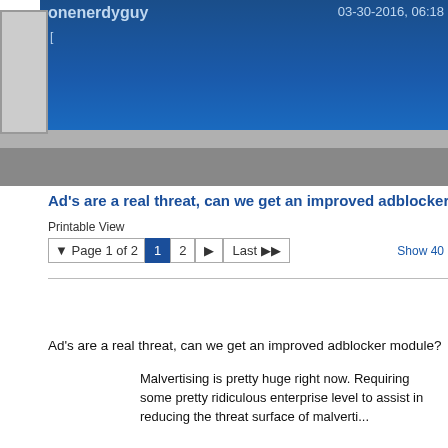onenerdyguy   03-30-2016, 06:18
Ad's are a real threat, can we get an improved adblocker module?
Printable View
Page 1 of 2  1  2  ▶  Last ▶▶    Show 40
Ad's are a real threat, can we get an improved adblocker module?
Malvertising is pretty huge right now. Requiring some pretty ridiculous enterprise level to assist in reducing the threat surface of malvertising